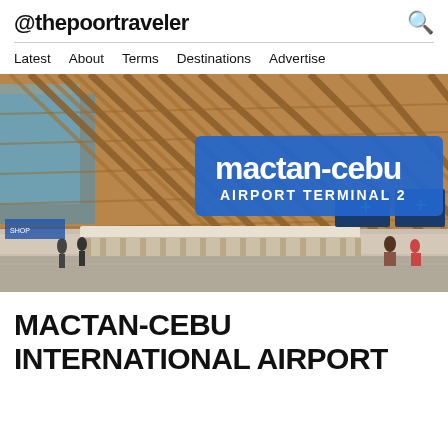@thepoortraveler
Latest  About  Terms  Destinations  Advertise
[Figure (photo): Interior of Mactan-Cebu Airport Terminal 2 showing the distinctive wooden lattice ceiling, check-in counters, and airport signage. A large overlay text reads 'mactan-cebu AIRPORT TERMINAL 2' in white text on a blue background.]
MACTAN-CEBU INTERNATIONAL AIRPORT